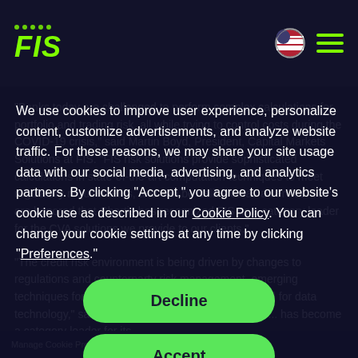FIS logo header with navigation icons
"Banks today are challenged to perform complex calculations for portfolio and trading risk, all while trying to control costs during the COVID-19 crisis," said Martin Boyd, President, Capital Markets Solutions at FIS. "FIS risk solutions provide sophisticated calculations in state-of-the-art computation techniques to meet regulatory requirements, and can be delivered as a service. We are honored that Chartis has recognized FIS as a category leader for the CVA solutions we provide to our clients."
We use cookies to improve user experience, personalize content, customize advertisements, and analyze website traffic. For these reasons, we may share your site usage data with our social media, advertising, and analytics partners. By clicking “Accept,” you agree to our website’s cookie use as described in our Cookie Policy. You can change your cookie settings at any time by clicking “Preferences.”
Decline
Accept
"The credit risk environment is being driven by changes to regulations and counterparty risk management, emerging techniques for assessing credit risk, and the demand for data technology," said Sid Dash, a Research Director at ... has become a category leader for its
Manage Cookie Preferences